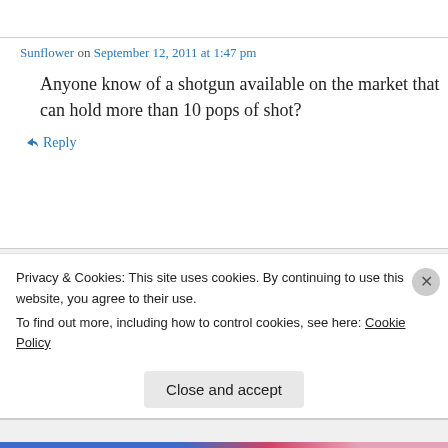Sunflower on September 12, 2011 at 1:47 pm
Anyone know of a shotgun available on the market that can hold more than 10 pops of shot?
↳ Reply
Joe on September 12, 2011 at 2:30 pm
The Saiga-12 has a 20 round drum that's
Privacy & Cookies: This site uses cookies. By continuing to use this website, you agree to their use.
To find out more, including how to control cookies, see here: Cookie Policy
Close and accept